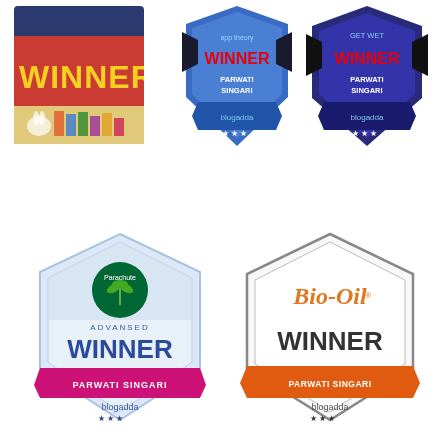[Figure (illustration): Collection of award winner badges for Parwati Singari on blogadda: a book-themed winner badge top-left, two blue shield winner badges (app theory and wet) top-right, a Parachute Advansed winner badge bottom-left, and a Bio-Oil winner badge bottom-right.]